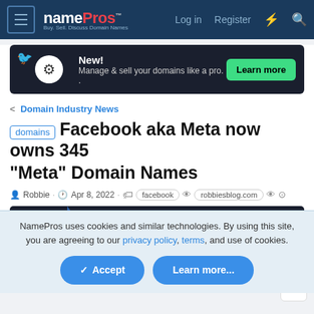namePros™ Buy. Sell. Discuss Domain Names — Log in  Register
[Figure (screenshot): Dark ad banner: circle logo icon, 'New! Manage & sell your domains like a pro.' with green 'Learn more' button]
< Domain Industry News
domains  Facebook aka Meta now owns 345 "Meta" Domain Names
Robbie · Apr 8, 2022 · facebook · robbiesblog.com
[Figure (screenshot): NameSilo ad banner: LOW COST DOMAIN NAMES, RECEIVE WHOIS PRIVACY, DOMAIN PARKING, DEFENDER AND MORE FOR FREE! REGISTER N...]
... ▼
NamePros uses cookies and similar technologies. By using this site, you are agreeing to our privacy policy, terms, and use of cookies.
✓ Accept    Learn more...